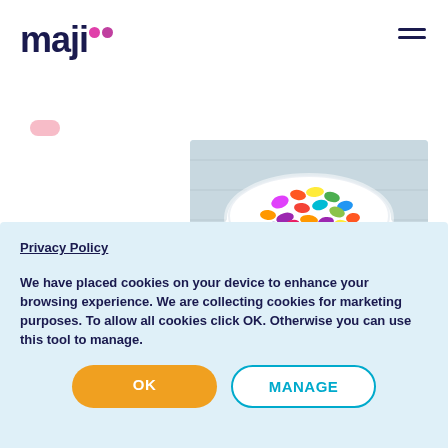maji
[Figure (photo): A white bowl filled with colorful jelly beans/candy, viewed from above, on a light wooden surface]
4 min read
PENSIONS FOR INDIVIDUALS
How do I consolidate my
Privacy Policy
We have placed cookies on your device to enhance your browsing experience. We are collecting cookies for marketing purposes. To allow all cookies click OK. Otherwise you can use this tool to manage.
OK
MANAGE